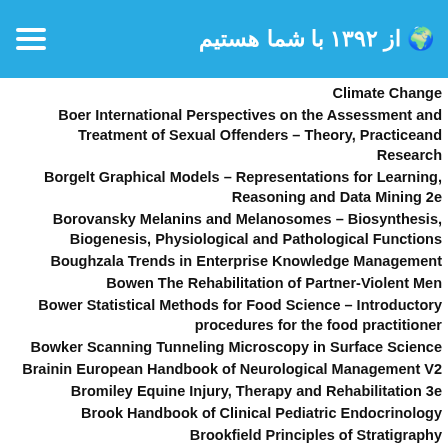از ۱۳۹۲ با شما هستیم
Climate Change
Boer International Perspectives on the Assessment and Treatment of Sexual Offenders – Theory, Practiceand Research
Borgelt Graphical Models – Representations for Learning, Reasoning and Data Mining 2e
Borovansky Melanins and Melanosomes – Biosynthesis, Biogenesis, Physiological and Pathological Functions
Boughzala Trends in Enterprise Knowledge Management
Bowen The Rehabilitation of Partner-Violent Men
Bower Statistical Methods for Food Science – Introductory procedures for the food practitioner
Bowker Scanning Tunneling Microscopy in Surface Science
Brainin European Handbook of Neurological Management V2
Bromiley Equine Injury, Therapy and Rehabilitation 3e
Brook Handbook of Clinical Pediatric Endocrinology
Brookfield Principles of Stratigraphy
Bruce Functional Oxides